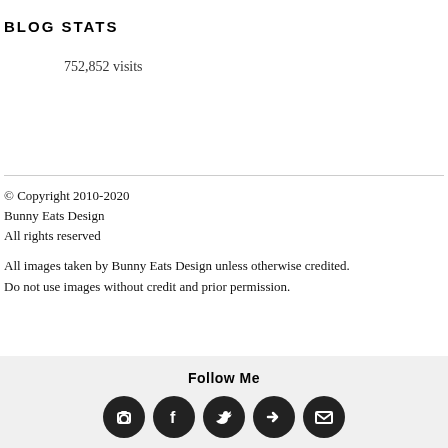BLOG STATS
752,852 visits
© Copyright 2010-2020
Bunny Eats Design
All rights reserved
All images taken by Bunny Eats Design unless otherwise credited. Do not use images without credit and prior permission.
Follow Me
[Figure (illustration): Five social media icon circles (camera/RSS, Facebook, Twitter/bird, another bird/arrow, envelope/email) in dark gray/black]